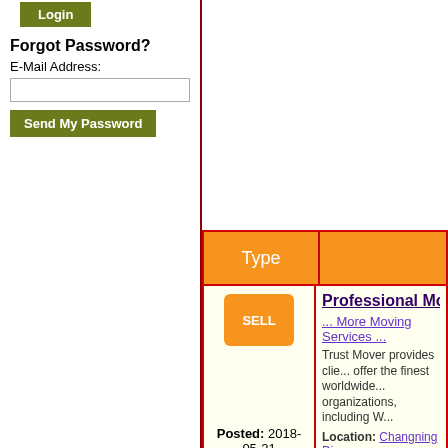Forgot Password?
E-Mail Address:
Send My Password
| Type |  |
| --- | --- |
| SELL
Posted: 2018-05-21 | Professional Mov...
... More Moving Services
Trust Mover provides clie... offer the finest worldwide... organizations, including W...
Location: Changning Dis... |
| SELL
Posted: 2018-03-07 | Great Moving Ser...
... More Moving Services
Trust Mover has become... services include househol... scale equipment import, e... |